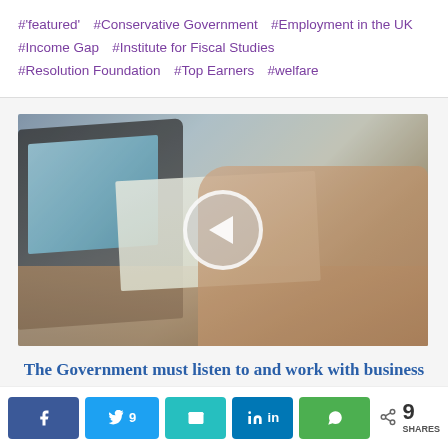#'featured'  #Conservative Government  #Employment in the UK  #Income Gap  #Institute for Fiscal Studies  #Resolution Foundation  #Top Earners  #welfare
[Figure (photo): Photo of people working at a desk with laptops and notebooks, with a play button overlay in the center]
The Government must listen to and work with business groups, says Business for Scotland
< 9 SHARES (Facebook, Twitter with count 9, Email, LinkedIn, WhatsApp share buttons)